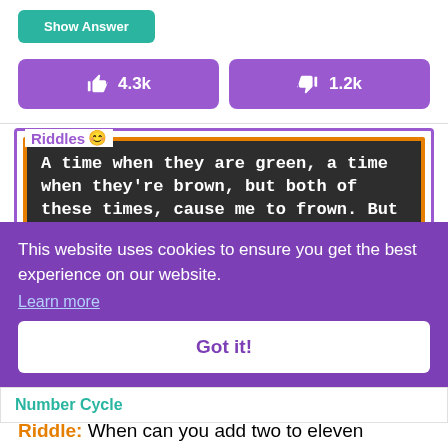[Figure (screenshot): UI section showing a teal 'Show Answer' button and two purple vote buttons with thumbs up 4.3k and thumbs down 1.2k]
[Figure (screenshot): Riddles.com card with dark background and orange border showing riddle text: 'A time when they are green, a time when they're brown, but both of these times, cause me to frown. But just in between, for a very short while. They're perfect and make you smile! What am I talking about here?']
[Figure (screenshot): Cookie consent overlay in purple: 'This website uses cookies to ensure you get the best experience on our website. Learn more' with a 'Got it!' button]
Number Cycle
Riddle: When can you add two to eleven